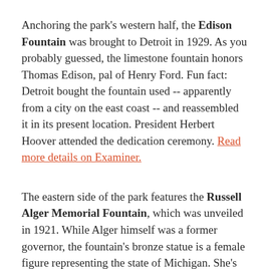Anchoring the park's western half, the Edison Fountain was brought to Detroit in 1929. As you probably guessed, the limestone fountain honors Thomas Edison, pal of Henry Ford. Fun fact: Detroit bought the fountain used -- apparently from a city on the east coast -- and reassembled it in its present location. President Herbert Hoover attended the dedication ceremony. Read more details on Examiner.
The eastern side of the park features the Russell Alger Memorial Fountain, which was unveiled in 1921. While Alger himself was a former governor, the fountain's bronze statue is a female figure representing the state of Michigan. She's seven feet tall, has the state seal on her